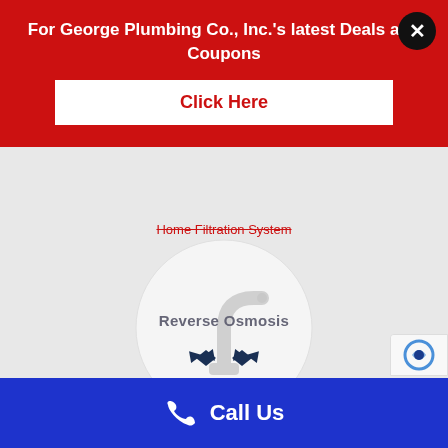Home Filtration System
[Figure (illustration): Circular icon with a white kitchen faucet illustration on light gray background, with two dark navy blue diamond-shaped handles at the base]
Reverse Osmosis
George Plumbing Co., Inc. provide
[Figure (infographic): Red promotional banner overlay reading: For George Plumbing Co., Inc.'s latest Deals and Coupons, with a white Click Here button and a black circular X close button]
Call Us